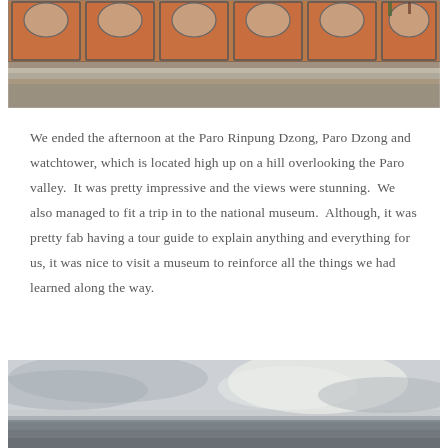[Figure (photo): Exterior facade of Paro Rinpung Dzong showing traditional Bhutanese architecture with orange-red painted wooden panels, decorative arched window frames outlined in dark borders, stone steps and ground below]
We ended the afternoon at the Paro Rinpung Dzong, Paro Dzong and watchtower, which is located high up on a hill overlooking the Paro valley.  It was pretty impressive and the views were stunning.  We also managed to fit a trip in to the national museum.  Although, it was pretty fab having a tour guide to explain anything and everything for us, it was nice to visit a museum to reinforce all the things we had learned along the way.
[Figure (photo): Misty grey sky with clouds and a dark landscape horizon at the bottom, possibly taken from a high elevation looking out over Paro valley]